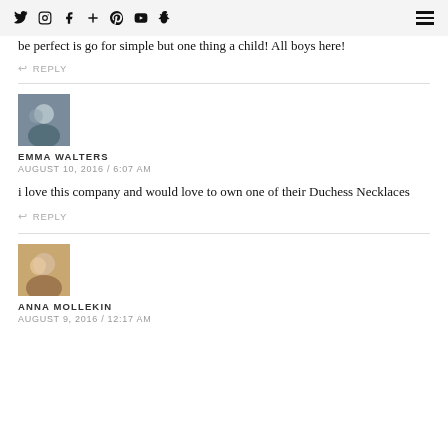Social media icons: Twitter, Instagram, Facebook, Plus, Pinterest, YouTube, Snapchat | Hamburger menu
Amazing opportunity third and last baby has arrive so this would be perfect is go for simple but one thing a child! All boys here!
↩ REPLY
EMMA WALTERS
AUGUST 10, 2016 / 6:07 AM
i love this company and would love to own one of their Duchess Necklaces
↩ REPLY
ANNA MOLLEKIN
AUGUST 9, 2016 / 12:17 AM